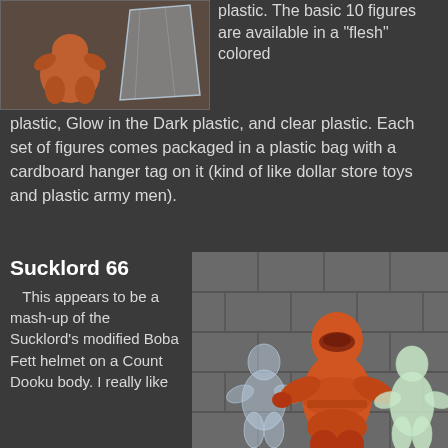[Figure (photo): Two toy figures - one orange creature figure and one clear plastic bag with a hanger tag]
plastic. The basic 10 figures are available in a "flesh" colored plastic, Glow in the Dark plastic, and clear plastic. Each set of figures comes packaged in a plastic bag with a cardboard hanger tag on it (kind of like dollar store toys and plastic army men).
Sucklord 66
This appears to be a mash-up of the Sucklord's modified Boba Fett helmet on a Count Dooku body. I really like
[Figure (photo): Three plastic toy figures - clear, orange (center, larger), and glow-in-the-dark, in front of a concrete block wall background]